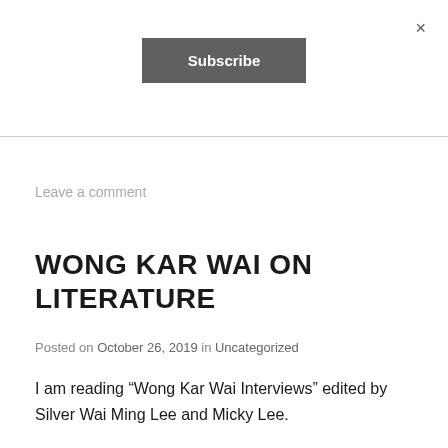[Figure (other): Subscribe button in dark gray]
×
Leave a comment
WONG KAR WAI ON LITERATURE
Posted on October 26, 2019 in Uncategorized
I am reading “Wong Kar Wai Interviews” edited by Silver Wai Ming Lee and Micky Lee.